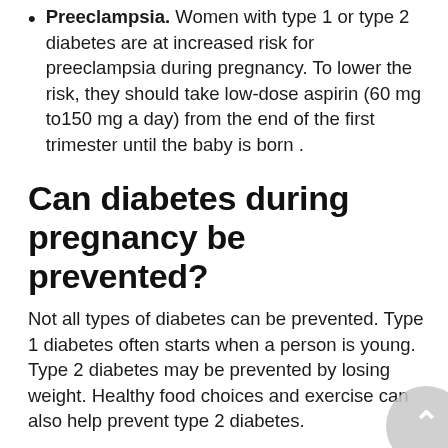Preeclampsia. Women with type 1 or type 2 diabetes are at increased risk for preeclampsia during pregnancy. To lower the risk, they should take low-dose aspirin (60 mg to150 mg a day) from the end of the first trimester until the baby is born .
Can diabetes during pregnancy be prevented?
Not all types of diabetes can be prevented. Type 1 diabetes often starts when a person is young. Type 2 diabetes may be prevented by losing weight. Healthy food choices and exercise can also help prevent type 2 diabetes.
How is diabetes during